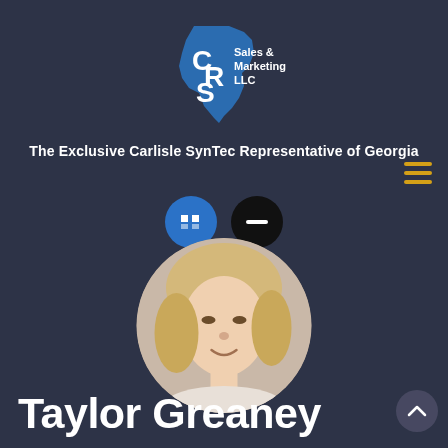[Figure (logo): CRS Sales & Marketing LLC logo — blue Georgia state outline with CRS letters and Sales & Marketing LLC text]
The Exclusive Carlisle SynTec Representative of Georgia
[Figure (photo): Circular headshot photo of a blonde woman smiling]
Taylor Greaney